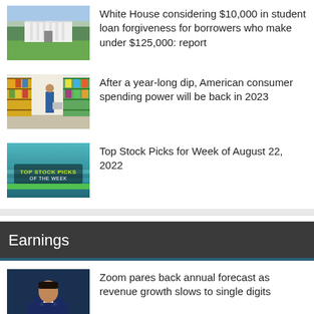[Figure (photo): White House exterior with lawn]
White House considering $10,000 in student loan forgiveness for borrowers who make under $125,000: report
[Figure (photo): Grocery store aisle with shoppers]
After a year-long dip, American consumer spending power will be back in 2023
[Figure (photo): Top Stock Picks of the Week graphic]
Top Stock Picks for Week of August 22, 2022
Earnings
[Figure (photo): Man in suit speaking at event]
Zoom pares back annual forecast as revenue growth slows to single digits